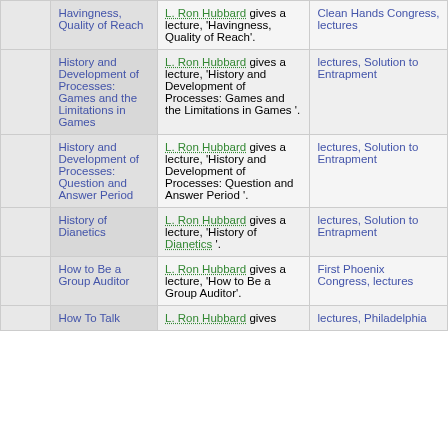|  | Title | Description | Source |
| --- | --- | --- | --- |
|  | Havingness, Quality of Reach | L. Ron Hubbard gives a lecture, 'Havingness, Quality of Reach'. | Clean Hands Congress, lectures |
|  | History and Development of Processes: Games and the Limitations in Games | L. Ron Hubbard gives a lecture, 'History and Development of Processes: Games and the Limitations in Games '. | lectures, Solution to Entrapment |
|  | History and Development of Processes: Question and Answer Period | L. Ron Hubbard gives a lecture, 'History and Development of Processes: Question and Answer Period '. | lectures, Solution to Entrapment |
|  | History of Dianetics | L. Ron Hubbard gives a lecture, 'History of Dianetics '. | lectures, Solution to Entrapment |
|  | How to Be a Group Auditor | L. Ron Hubbard gives a lecture, 'How to Be a Group Auditor'. | First Phoenix Congress, lectures |
|  | How To Talk | L. Ron Hubbard gives | lectures, Philadelphia |